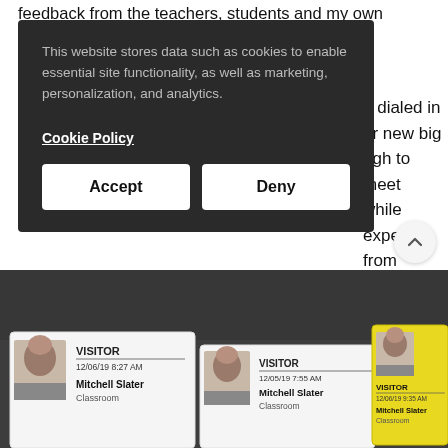feedback from the teachers, students and my own
This website stores data such as cookies to enable essential site functionality, as well as marketing, personalization, and analytics.
Cookie Policy
Accept
Deny
n dialed in
ur new big
ugh to meet
while
expect from
[Figure (photo): Three visitor badges for Mitchell Slater showing dates 12/06/19 8:27 AM, 12/05/19 7:55 AM, and 12/06/19 9:35 AM, all labeled Classroom, with small photos of the visitor. One badge has a yellow background. Background is a dark surface.]